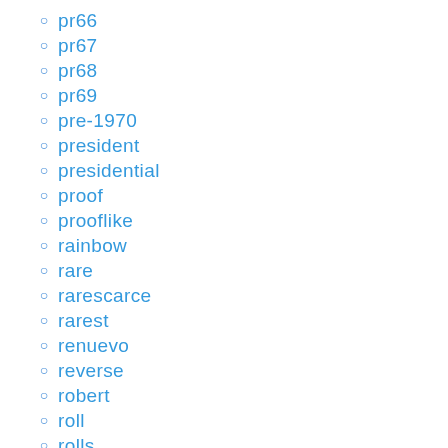pr66
pr67
pr68
pr69
pre-1970
president
presidential
proof
prooflike
rainbow
rare
rarescarce
rarest
renuevo
reverse
robert
roll
rolls
s50c